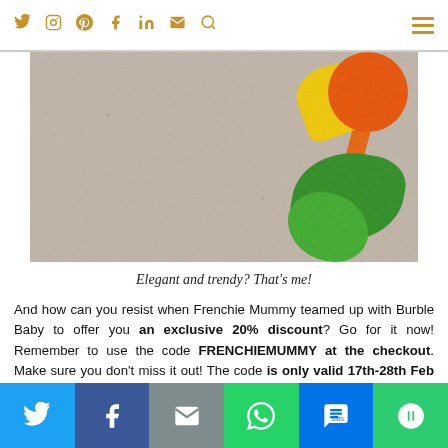Social media icons: Twitter, Instagram, Pinterest, Facebook, LinkedIn, Email, Search, Menu
[Figure (photo): A colorful children's toy on a beige/grey carpet. The toy features orange, yellow, and green leaf/flower shapes.]
Elegant and trendy? That's me!
And how can you resist when Frenchie Mummy teamed up with Burble Baby to offer you an exclusive 20% discount? Go for it now! Remember to use the code FRENCHIEMUMMY at the checkout. Make sure you don't miss it out! The code is only valid 17th-28th Feb on everything in the range except Little Lulu's Shoes, Kerikit Bags and Cassam Jewellery!
Share bar: Twitter, Facebook, Email, WhatsApp, SMS, More